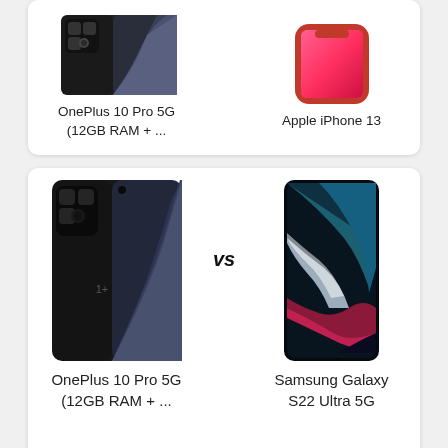[Figure (infographic): Comparison card (top, partially visible): OnePlus 10 Pro 5G (12GB RAM + ...) vs Apple iPhone 13. Both phone images shown above their names.]
[Figure (infographic): Comparison card (middle, fully visible): OnePlus 10 Pro 5G (12GB RAM + ...) vs Samsung Galaxy S22 Ultra 5G. Both phone images shown with VS text in center.]
[Figure (infographic): Comparison card (bottom, partially visible): Two phones partially shown at bottom of page.]